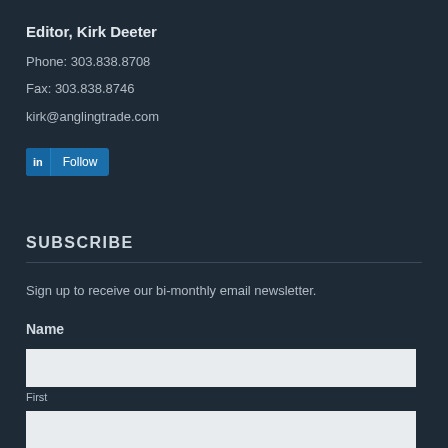Editor, Kirk Deeter
Phone: 303.838.8708
Fax: 303.838.8746
kirk@anglingtrade.com
[Figure (other): LinkedIn Follow button]
SUBSCRIBE
Sign up to receive our bi-monthly email newsletter.
Name
First
Last (partially visible)